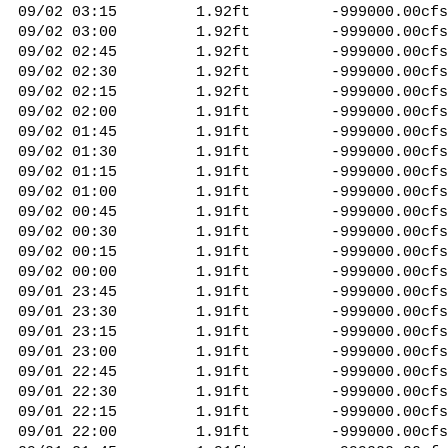| Date/Time | Stage | Flow |
| --- | --- | --- |
| 09/02 03:15 | 1.92ft | -999000.00cfs |
| 09/02 03:00 | 1.92ft | -999000.00cfs |
| 09/02 02:45 | 1.92ft | -999000.00cfs |
| 09/02 02:30 | 1.92ft | -999000.00cfs |
| 09/02 02:15 | 1.92ft | -999000.00cfs |
| 09/02 02:00 | 1.91ft | -999000.00cfs |
| 09/02 01:45 | 1.91ft | -999000.00cfs |
| 09/02 01:30 | 1.91ft | -999000.00cfs |
| 09/02 01:15 | 1.91ft | -999000.00cfs |
| 09/02 01:00 | 1.91ft | -999000.00cfs |
| 09/02 00:45 | 1.91ft | -999000.00cfs |
| 09/02 00:30 | 1.91ft | -999000.00cfs |
| 09/02 00:15 | 1.91ft | -999000.00cfs |
| 09/02 00:00 | 1.91ft | -999000.00cfs |
| 09/01 23:45 | 1.91ft | -999000.00cfs |
| 09/01 23:30 | 1.91ft | -999000.00cfs |
| 09/01 23:15 | 1.91ft | -999000.00cfs |
| 09/01 23:00 | 1.91ft | -999000.00cfs |
| 09/01 22:45 | 1.91ft | -999000.00cfs |
| 09/01 22:30 | 1.91ft | -999000.00cfs |
| 09/01 22:15 | 1.91ft | -999000.00cfs |
| 09/01 22:00 | 1.91ft | -999000.00cfs |
| 09/01 21:45 | 1.91ft | -999000.00cfs |
| 09/01 21:30 | 1.91ft | -999000.00cfs |